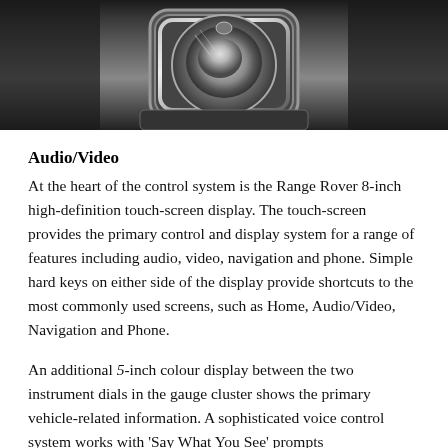[Figure (photo): Close-up photograph of a Range Rover rotary gear selector control in chrome/silver finish, centered in the console]
Audio/Video
At the heart of the control system is the Range Rover 8-inch high-definition touch-screen display. The touch-screen provides the primary control and display system for a range of features including audio, video, navigation and phone. Simple hard keys on either side of the display provide shortcuts to the most commonly used screens, such as Home, Audio/Video, Navigation and Phone.
An additional 5-inch colour display between the two instrument dials in the gauge cluster shows the primary vehicle-related information. A sophisticated voice control system works with 'Say What You See' prompts